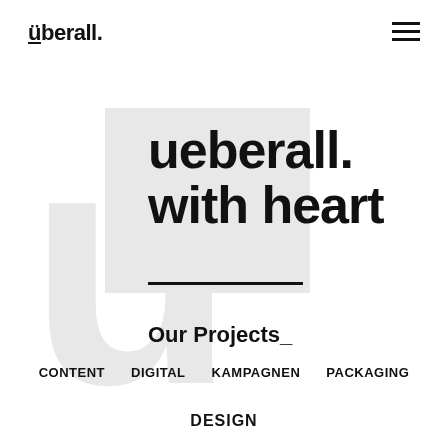überall.
ueberall.
with heart
Our Projects_
CONTENT
DIGITAL
KAMPAGNEN
PACKAGING
DESIGN